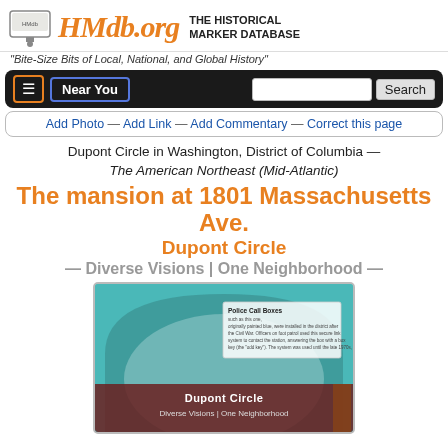HMdb.org — THE HISTORICAL MARKER DATABASE
"Bite-Size Bits of Local, National, and Global History"
Add Photo — Add Link — Add Commentary — Correct this page
Dupont Circle in Washington, District of Columbia — The American Northeast (Mid-Atlantic)
The mansion at 1801 Massachusetts Ave.
Dupont Circle
— Diverse Visions | One Neighborhood —
[Figure (photo): Photo of a historical marker for Dupont Circle - Diverse Visions | One Neighborhood with a teal/green rounded arch frame. The marker shows 'Dupont Circle' text and 'Diverse Visions | One Neighborhood' subtitle. A text box about Police Call Boxes is visible on the right side.]